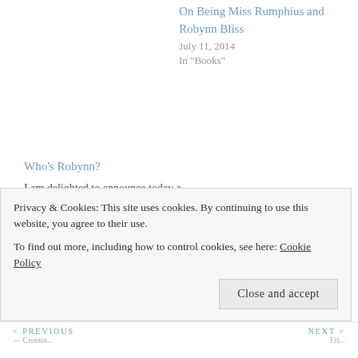On Being Miss Rumphius and Robynn Bliss
July 11, 2014
In "Books"
Who's Robynn?
I am delighted to announce today a change at Communicating Across Boundaries. Robynn Bliss, reader and frequent guest
July 27, 2012
In "Identity"
POSTED IN FAITH, FEAR, FRIDAYS WITH ROBYNN, GOD, GRACE, HOPE, LIFE, LIFE IN GENERAL, PAIN, POLITICS...
Privacy & Cookies: This site uses cookies. By continuing to use this website, you agree to their use. To find out more, including how to control cookies, see here: Cookie Policy
Close and accept
< PREVIOUS   NEXT >